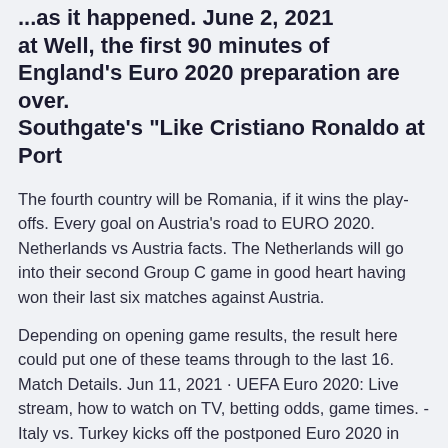...as it happened. June 2, 2021 at Well, the first 90 minutes of England's Euro 2020 preparation are over. Southgate's "Like Cristiano Ronaldo at Port
The fourth country will be Romania, if it wins the play-offs. Every goal on Austria's road to EURO 2020. Netherlands vs Austria facts. The Netherlands will go into their second Group C game in good heart having won their last six matches against Austria.
Depending on opening game results, the result here could put one of these teams through to the last 16. Match Details. Jun 11, 2021 · UEFA Euro 2020: Live stream, how to watch on TV, betting odds, game times. - Italy vs. Turkey kicks off the postponed Euro 2020 in Rome on Friday. - Defending champion Portugal in